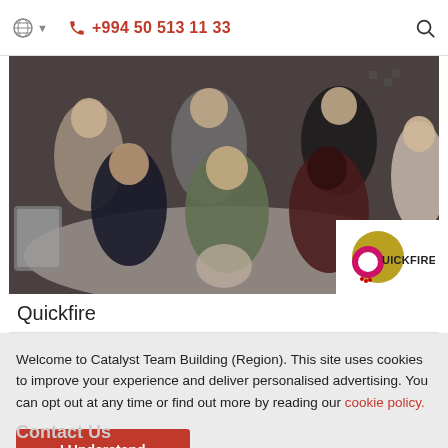🌐 ▾   📞 +994 50 513 11 33   🔍
[Figure (photo): Group photo of people sitting and posing in a workshop or event setting, some wearing lanyards. A Quickfire logo overlay appears in the bottom right corner of the image.]
Quickfire
Welcome to Catalyst Team Building (Region). This site uses cookies to improve your experience and deliver personalised advertising. You can opt out at any time or find out more by reading our cookie policy.
I Understand